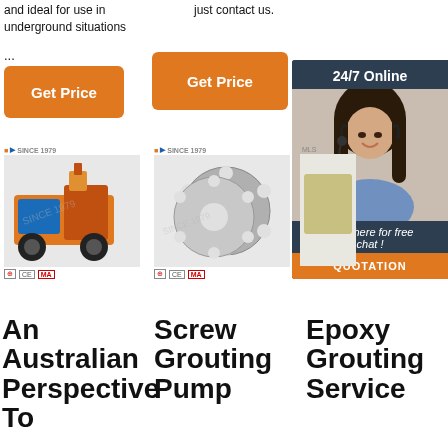and ideal for use in underground situations
just contact us.
...
[Figure (other): Orange 'Get Price' button on left]
[Figure (other): Orange 'Get Price' button in center]
[Figure (other): 24/7 Online chat widget with woman wearing headset, 'Click here for free chat!' text and QUOTATION button]
[Figure (photo): Mining/grouting machine product photo with MLS SINCE 1979 logo and CE MA certifications]
[Figure (photo): Screw grouting pump parts (metal discs with holes) with MLS SINCE 1979 logo and CE MA certifications]
An Australian Perspective To
Screw Grouting Pump
Epoxy Grouting Service